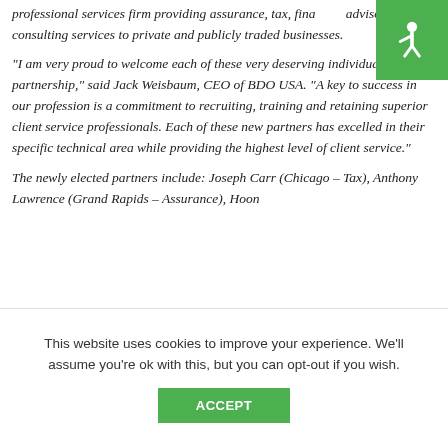professional services firm providing assurance, tax, financial advisory and consulting services to private and publicly traded businesses.
"I am very proud to welcome each of these very deserving individuals to our partnership," said Jack Weisbaum, CEO of BDO USA. "A key to success in our profession is a commitment to recruiting, training and retaining superior client service professionals. Each of these new partners has excelled in their specific technical area while providing the highest level of client service."
The newly elected partners include: Joseph Carr (Chicago – Tax), Anthony Lawrence (Grand Rapids – Assurance), Hoon
This website uses cookies to improve your experience. We'll assume you're ok with this, but you can opt-out if you wish.